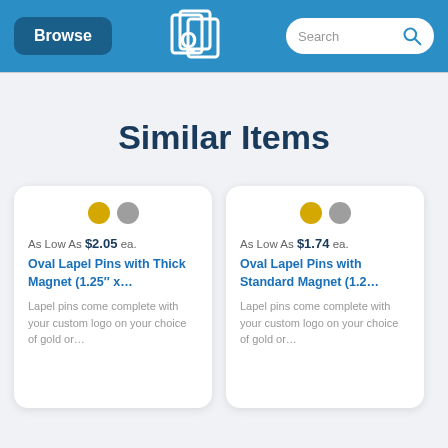[Figure (screenshot): Navigation header with Browse button, QLP logo, and Search bar]
Similar Items
[Figure (infographic): Product card: Oval Lapel Pins with Thick Magnet (1.25" x... - As Low As $2.05 ea. with gold and silver color dots]
[Figure (infographic): Product card: Oval Lapel Pins with Standard Magnet (1.2... - As Low As $1.74 ea. with gold and silver color dots]